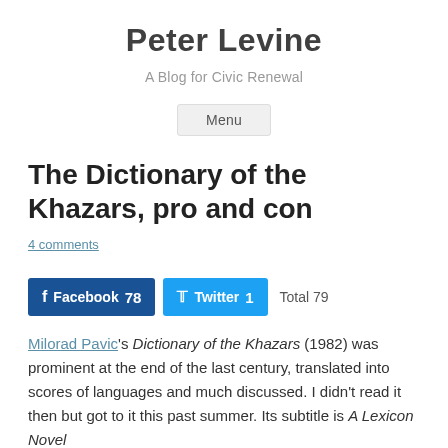Peter Levine
A Blog for Civic Renewal
Menu
The Dictionary of the Khazars, pro and con
4 comments
Facebook 78   Twitter 1   Total 79
Milorad Pavic's Dictionary of the Khazars (1982) was prominent at the end of the last century, translated into scores of languages and much discussed. I didn't read it then but got to it this past summer. Its subtitle is A Lexicon Novel